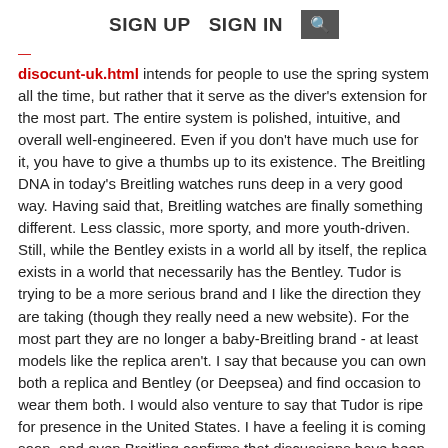SIGN UP   SIGN IN   🔍
disocunt-uk.html intends for people to use the spring system all the time, but rather that it serve as the diver's extension for the most part. The entire system is polished, intuitive, and overall well-engineered. Even if you don't have much use for it, you have to give a thumbs up to its existence. The Breitling DNA in today's Breitling watches runs deep in a very good way. Having said that, Breitling watches are finally something different. Less classic, more sporty, and more youth-driven. Still, while the Bentley exists in a world all by itself, the replica exists in a world that necessarily has the Bentley. Tudor is trying to be a more serious brand and I like the direction they are taking (though they really need a new website). For the most part they are no longer a baby-Breitling brand - at least models like the replica aren't. I say that because you can own both a replica and Bentley (or Deepsea) and find occasion to wear them both. I would also venture to say that Tudor is ripe for presence in the United States. I have a feeling it is coming soon, and even Breitling confirms that discussions have been made and something is (perhaps) in the works. Having said that, US price (even though you can't buy the watch here) is $4,140. Now why would they have a US price if it wasn't going to be sold here?